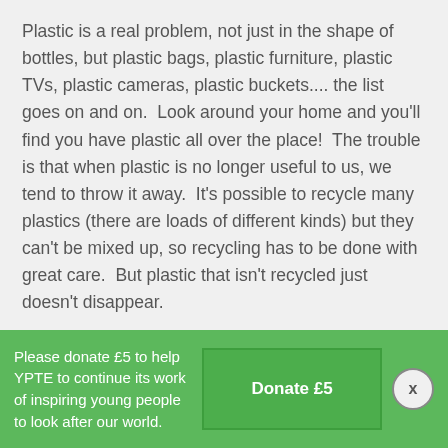Plastic is a real problem, not just in the shape of bottles, but plastic bags, plastic furniture, plastic TVs, plastic cameras, plastic buckets.... the list goes on and on.  Look around your home and you'll find you have plastic all over the place!  The trouble is that when plastic is no longer useful to us, we tend to throw it away.  It's possible to recycle many plastics (there are loads of different kinds) but they can't be mixed up, so recycling has to be done with great care.  But plastic that isn't recycled just doesn't disappear.
Plastic doesn't biodegrade (rot away naturally).  Over long periods of time, it does photodegrade (breaks down when exposed to light), but this is a process that can take hundreds of years, and even then, it only breaks down into smaller
Please donate £5 to help YPTE to continue its work of inspiring young people to look after our world.
Donate £5